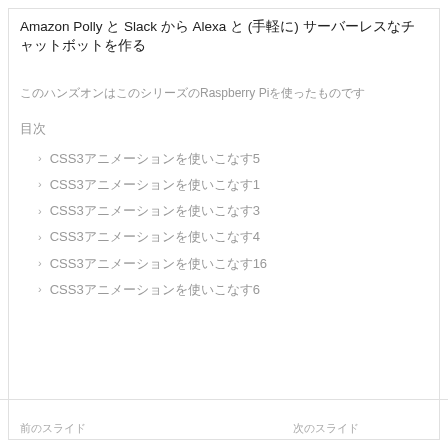Amazon Polly と Slack から Alexa と (手軽に) サーバーレスなチャットボットを作る
このハンズオンはこのシリーズのRaspberry Piを使ったものです
目次
CSS3アニメーションを使いこなす5
CSS3アニメーションを使いこなす1
CSS3アニメーションを使いこなす3
CSS3アニメーションを使いこなす4
CSS3アニメーションを使いこなす16
CSS3アニメーションを使いこなす6
前のスライド　　　　　　　　　　次のスライド